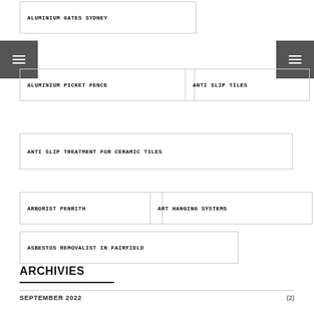ALUMINIUM GATES SYDNEY
ALUMINIUM PICKET FENCE
ANTI SLIP TILES
ANTI SLIP TREATMENT FOR CERAMIC TILES
ARBORIST PENRITH
ART HANGING SYSTEMS
ASBESTOS REMOVALIST IN FAIRFIELD
AUDI SPECIALIST GARAGE
AUDIOLOGIST MIRANDA
ARCHIVIES
SEPTEMBER 2022 (2)